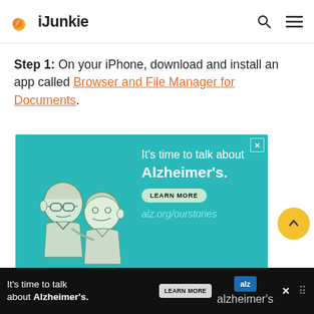iJunkie
Step 1: On your iPhone, download and install an app called Browser and File Manager for Documents.
[Figure (infographic): Alzheimer's Association advertisement with teal background. Text reads: It's time to talk about Alzheimer's. LEARN MORE. alz.org/ourstories. Illustration of an elderly couple.]
[Figure (infographic): Bottom banner ad with dark background: It's time to talk about Alzheimer's. LEARN MORE button. Alzheimer's Association logo.]